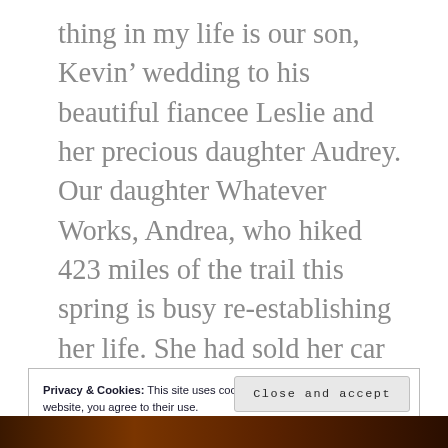thing in my life is our son, Kevin' wedding to his beautiful fiancee Leslie and her precious daughter Audrey. Our daughter Whatever Works, Andrea, who hiked 423 miles of the trail this spring is busy re-establishing her life. She had sold her car to hike the trail and where we live there isn't mass transportation. As for my job part of this, I have a few ideas.
Privacy & Cookies: This site uses cookies. By continuing to use this website, you agree to their use.
To find out more, including how to control cookies, see here: Cookie Policy
Close and accept